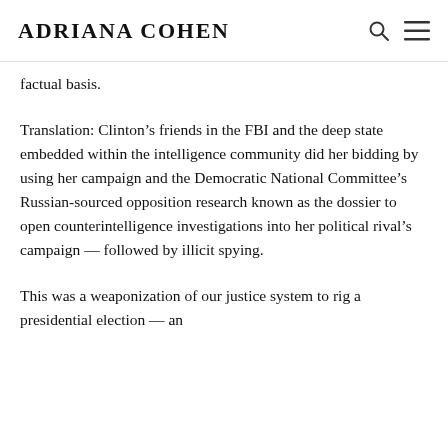ADRIANA COHEN
factual basis.
Translation: Clinton’s friends in the FBI and the deep state embedded within the intelligence community did her bidding by using her campaign and the Democratic National Committee’s Russian-sourced opposition research known as the dossier to open counterintelligence investigations into her political rival’s campaign — followed by illicit spying.
This was a weaponization of our justice system to rig a presidential election — an